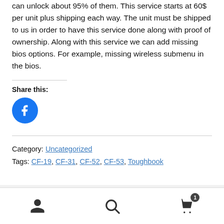can unlock about 95% of them. This service starts at 60$ per unit plus shipping each way. The unit must be shipped to us in order to have this service done along with proof of ownership. Along with this service we can add missing bios options. For example, missing wireless submenu in the bios.
Share this:
[Figure (logo): Facebook share button — blue circle with white Facebook 'f' icon]
Category: Uncategorized
Tags: CF-19, CF-31, CF-52, CF-53, Toughbook